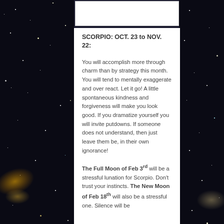[Figure (photo): Space/galaxy background image on left and right sides with dark starfield]
SCORPIO: OCT. 23 to NOV. 22:
You will accomplish more through charm than by strategy this month. You will tend to mentally exaggerate and over react. Let it go! A little spontaneous kindness and forgiveness will make you look good. If you dramatize yourself you will invite putdowns. If someone does not understand, then just leave them be, in their own ignorance!
The Full Moon of Feb 3rd will be a stressful lunation for Scorpio. Don't trust your instincts. The New Moon of Feb 18th will also be a stressful one. Silence will be